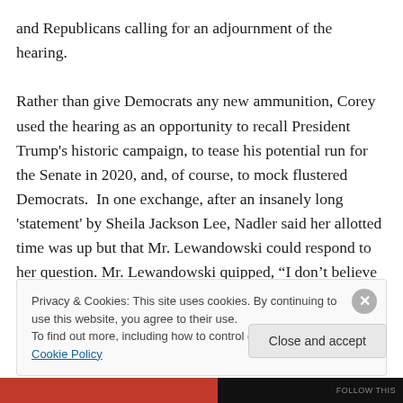and Republicans calling for an adjournment of the hearing.

Rather than give Democrats any new ammunition, Corey used the hearing as an opportunity to recall President Trump's historic campaign, to tease his potential run for the Senate in 2020, and, of course, to mock flustered Democrats.  In one exchange, after an insanely long 'statement' by Sheila Jackson Lee, Nadler said her allotted time was up but that Mr. Lewandowski could respond to her question. Mr. Lewandowski quipped, “I don’t believe there was a question, Congressman.”  After she retorted,
Privacy & Cookies: This site uses cookies. By continuing to use this website, you agree to their use.
To find out more, including how to control cookies, see here: Cookie Policy
Close and accept